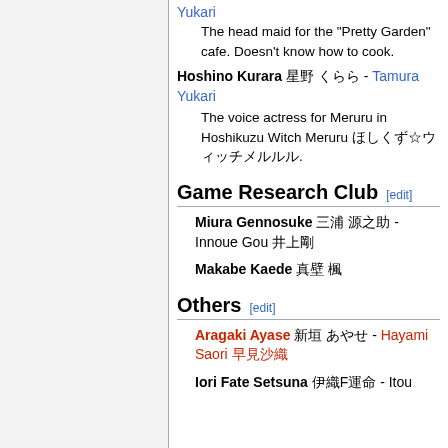Yukari
The head maid for the "Pretty Garden" cafe. Doesn't know how to cook.
Hoshino Kurara 星野くらら - Tamura Yukari
The voice actress for Meruru in Hoshikuzu Witch Meruru ほしくず☆ウィッチメルルル.
Game Research Club [edit]
Miura Gennosuke 三浦 源之助 - Innoue Gou 井上剛
Makabe Kaede 真壁 楓
Others [edit]
Aragaki Ayase 新垣 あやせ - Hayami Saori 早見沙織
Iori Fate Setsuna 伊織フェイトせつな - Itou